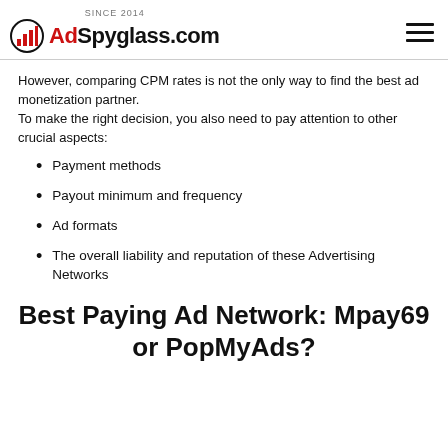SINCE 2014 AdSpyglass.com
However, comparing CPM rates is not the only way to find the best ad monetization partner.
To make the right decision, you also need to pay attention to other crucial aspects:
Payment methods
Payout minimum and frequency
Ad formats
The overall liability and reputation of these Advertising Networks
Best Paying Ad Network: Mpay69 or PopMyAds?